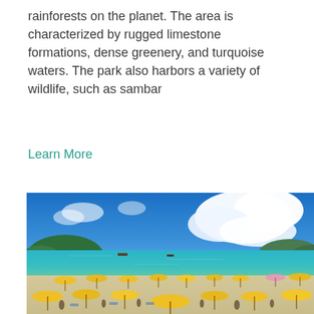rainforests on the planet. The area is characterized by rugged limestone formations, dense greenery, and turquoise waters. The park also harbors a variety of wildlife, such as sambar
Learn More
[Figure (photo): A crowded tropical beach scene with rows of yellow beach umbrellas and sunbathers on white sand, turquoise sea water in the middle ground with boats visible, green hills in the background, and a vivid blue sky with large white cumulus clouds.]